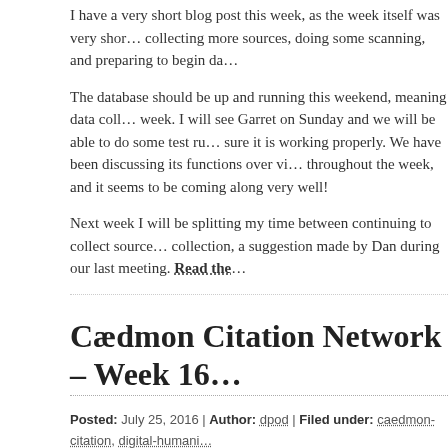I have a very short blog post this week, as the week itself was very short, collecting more sources, doing some scanning, and preparing to begin da...
The database should be up and running this weekend, meaning data coll... week. I will see Garret on Sunday and we will be able to do some test ru... sure it is working properly. We have been discussing its functions over vi... throughout the week, and it seems to be coming along very well!
Next week I will be splitting my time between continuing to collect source... collection, a suggestion made by Dan during our last meeting. Read the...
Cædmon Citation Network – Week 16
Posted: July 25, 2016 | Author: dpod | Filed under: caedmon-citation, digital-humani... bibliographies, caedmon, citation, citation management, citation practice, citations, dig... humanities, humanities research, old english, Projects, publication patterns, publishing...
Leave a comment »
Hi all,